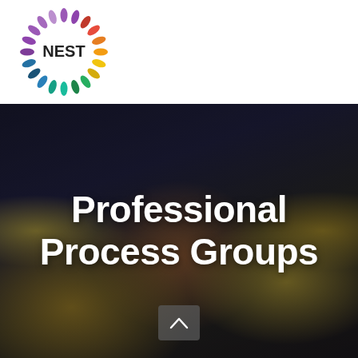[Figure (logo): NEST logo: colorful leaf-shaped petals arranged in a circle with the word NEST in the center]
[Figure (other): Hamburger menu icon: three horizontal dark lines]
[Figure (photo): Dark background photo of multiple hands holding autumn leaves (yellow, red, orange maple leaves). Overlaid with large white bold text reading 'Professional Process Groups'. A dark semi-transparent scroll-up button appears at the bottom center.]
Professional Process Groups